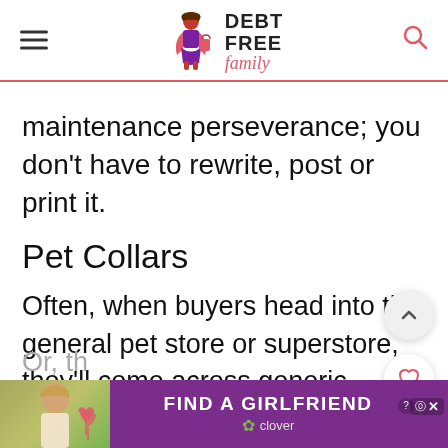DEBT FREE family
maintenance perseverance; you don't have to rewrite, post or print it.
Pet Collars
Often, when buyers head into the general pet store or superstore, they'll come across generic colours of a collar.
Or, th
[Figure (screenshot): Advertisement banner: purple background with woman photo on left, 'FIND A GIRLFRIEND' text, Clover app branding, close button.]